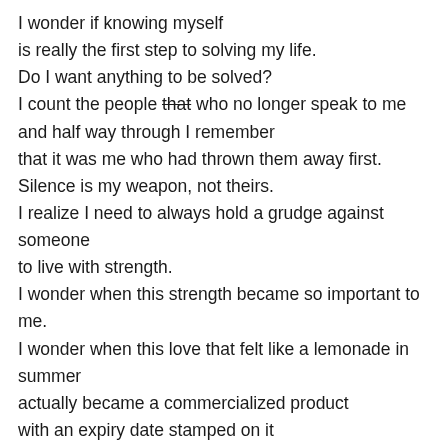I wonder if knowing myself
is really the first step to solving my life.
Do I want anything to be solved?
I count the people that who no longer speak to me
and half way through I remember
that it was me who had thrown them away first.
Silence is my weapon, not theirs.
I realize I need to always hold a grudge against someone
to live with strength.
I wonder when this strength became so important to me.
I wonder when this love that felt like a lemonade in
summer
actually became a commercialized product
with an expiry date stamped on it
before it even reaches our hands.
I think of my skin by which I am stuck to a world like this.
I wonder why I pretend to be better than this world by
saying such stuff?